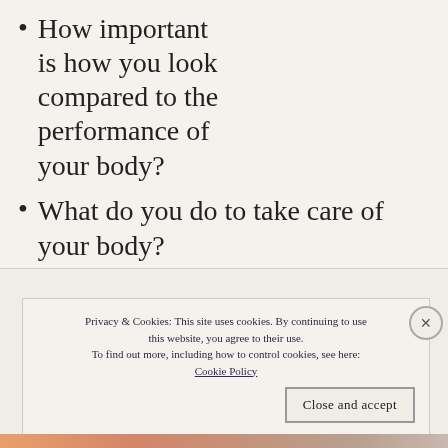How important is how you look compared to the performance of your body?
What do you do to take care of your body?
How does your body care for you?
Privacy & Cookies: This site uses cookies. By continuing to use this website, you agree to their use. To find out more, including how to control cookies, see here: Cookie Policy
Close and accept